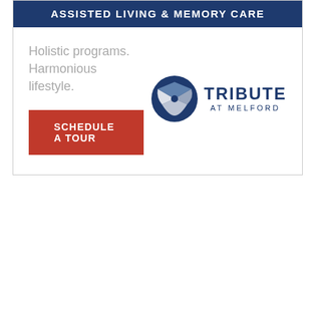ASSISTED LIVING & MEMORY CARE
Holistic programs.
Harmonious lifestyle.
SCHEDULE A TOUR
[Figure (logo): Tribute at Melford logo — circular dark blue emblem with stylized T/shield shape, next to text TRIBUTE AT MELFORD]